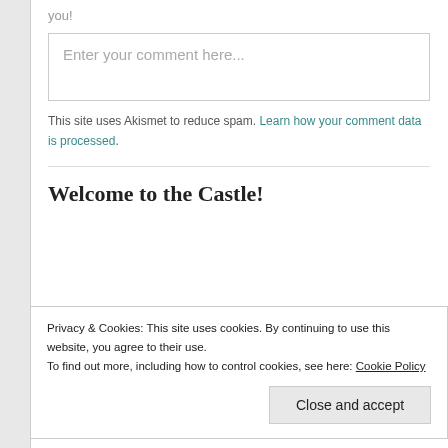you!
Enter your comment here...
This site uses Akismet to reduce spam. Learn how your comment data is processed.
Welcome to the Castle!
[Figure (photo): Partial image of characters, partially cropped at bottom of page]
Privacy & Cookies: This site uses cookies. By continuing to use this website, you agree to their use.
To find out more, including how to control cookies, see here: Cookie Policy
Close and accept